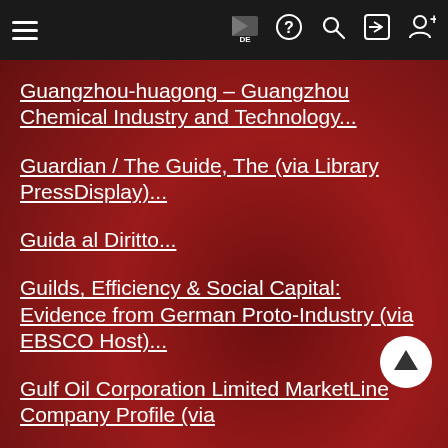Navigation bar with hamburger menu, flag/DE, help, search, login, and register icons
Guangzhou-huagong – Guangzhou Chemical Industry and Technology...
Guardian / The Guide, The (via Library PressDisplay)...
Guida al Diritto...
Guilds, Efficiency & Social Capital: Evidence from German Proto-Industry (via EBSCO Host)...
Gulf Oil Corporation Limited MarketLine Company Profile (via